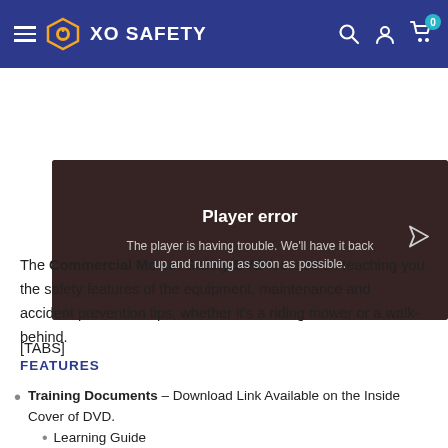XO SAFETY
[Figure (screenshot): Video player error screen showing 'Player error' message on dark background with a mower image. Text: 'The player is having trouble. We'll have it back up and running as soon as possible.']
The Commercial Mower Safety DVD focuses on teaching you the safety features of the equipment, maintenance and accident prevention tips, whether it's a riding mower or a walk-behind.
[TABS]
FEATURES
Training Documents – Download Link Available on the Inside Cover of DVD.
Learning Guide